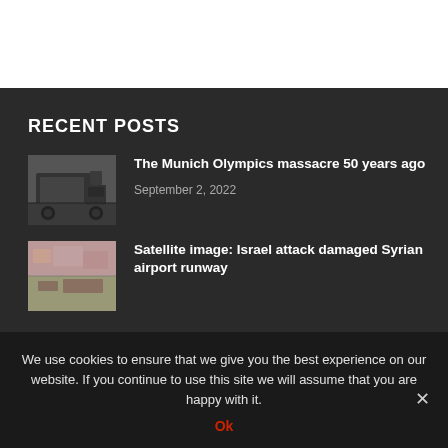RECENT POSTS
[Figure (photo): Black and white photo of a military-style vehicle/jeep]
The Munich Olympics massacre 50 years ago
September 2, 2022
[Figure (photo): Photo of a damaged brick/stone surface, possibly an airport runway]
Satellite image: Israel attack damaged Syrian airport runway
We use cookies to ensure that we give you the best experience on our website. If you continue to use this site we will assume that you are happy with it.
Ok